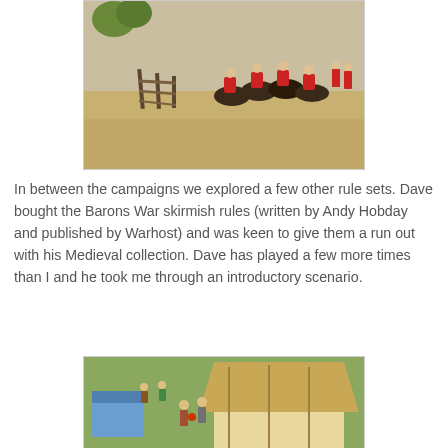[Figure (photo): Wargaming miniatures of cavalry soldiers in red uniforms on horseback charging across a sandy battlefield with a wooden fence to the left and trees in the background.]
In between the campaigns we explored a few other rule sets. Dave bought the Barons War skirmish rules (written by Andy Hobday and published by Warhost) and was keen to give them a run out with his Medieval collection. Dave has played a few more times than I and he took me through an introductory scenario.
[Figure (photo): Wargaming miniatures of Medieval figures near a thatched-roof building, with a blue structure on the left and several armored figures in the scene.]